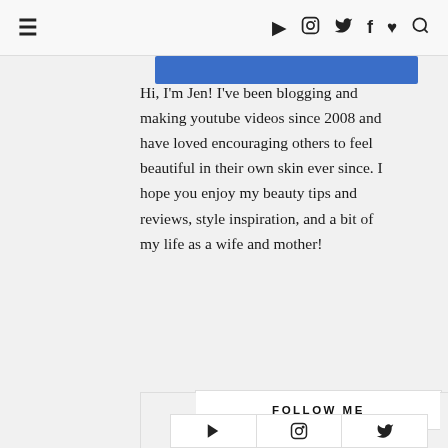≡  ▶  📷  🐦  f  ♥  🔍
[Figure (other): Blue banner strip at top of sidebar card]
Hi, I'm Jen! I've been blogging and making youtube videos since 2008 and have loved encouraging others to feel beautiful in their own skin ever since. I hope you enjoy my beauty tips and reviews, style inspiration, and a bit of my life as a wife and mother!
FOLLOW ME
[Figure (other): Row of three social media icon boxes: YouTube, Instagram, Twitter]